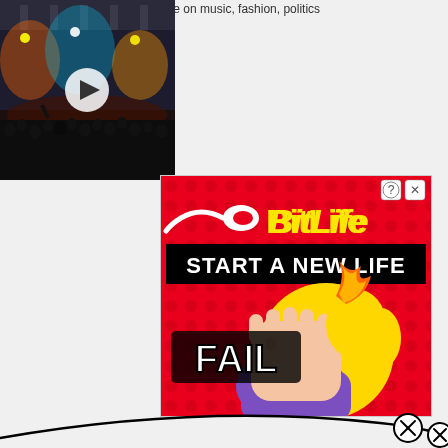...influence on music, fashion, politics
[Figure (screenshot): Concert venue photo with crowd and stage lighting, with a white play button triangle overlay in the center]
[Figure (advertisement): BitLife game advertisement with red polka-dot background. Shows BitLife logo in yellow text with sperm cell icon. Black banner reads 'START A NEW LIFE'. Cartoon facepalm emoji character with blonde hair and purple sleeve. 'FAIL' text in white with black outline. Close/info buttons in top right corner.]
[Figure (other): Partial curved black line at bottom with a circle X close button]